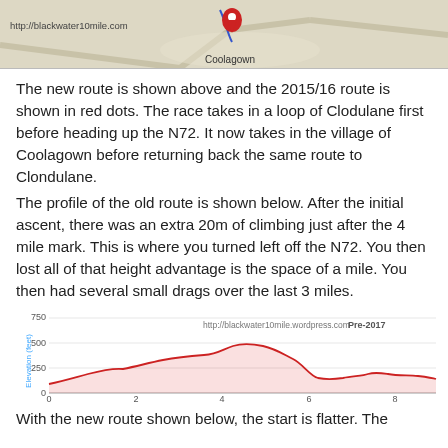[Figure (map): Map screenshot showing Coolagown village with a route marker/pin, and http://blackwater10mile.com URL label in the top-left.]
The new route is shown above and the 2015/16 route is shown in red dots. The race takes in a loop of Clodulane first before heading up the N72. It now takes in the village of Coolagown before returning back the same route to Clondulane.
The profile of the old route is shown below. After the initial ascent, there was an extra 20m of climbing just after the 4 mile mark. This is where you turned left off the N72. You then lost all of that height advantage is the space of a mile. You then had several small drags over the last 3 miles.
[Figure (area-chart): Elevation profile of old race route. Red line area chart. Y-axis: 0, 250, 500, 750. X-axis: 0, 2, 4, 6, 8. Shows climb from ~150ft, plateau ~350ft, peak ~475ft near mile 4.5, descent, then rolling terrain.]
With the new route shown below, the start is flatter. The